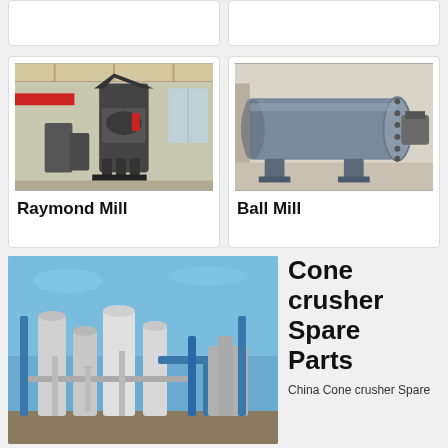[Figure (photo): Top-left card placeholder (partial, top of page)]
[Figure (photo): Top-right card placeholder (partial, top of page)]
[Figure (photo): Raymond Mill industrial grinding machine in factory]
Raymond Mill
[Figure (photo): Ball Mill large cylindrical grinding machine]
Ball Mill
[Figure (photo): Industrial plant with silos, pipes, and processing equipment against blue sky]
Cone crusher Spare Parts
China Cone crusher Spare